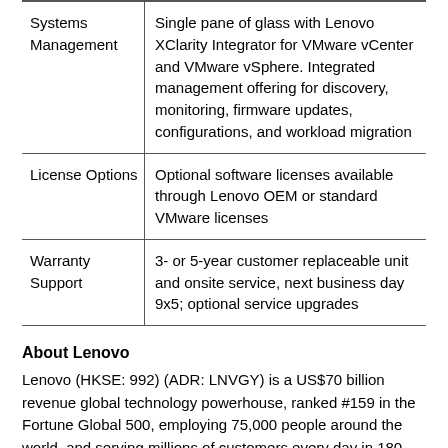| Systems Management | Single pane of glass with Lenovo XClarity Integrator for VMware vCenter and VMware vSphere. Integrated management offering for discovery, monitoring, firmware updates, configurations, and workload migration |
| License Options | Optional software licenses available through Lenovo OEM or standard VMware licenses |
| Warranty Support | 3- or 5-year customer replaceable unit and onsite service, next business day 9x5; optional service upgrades |
About Lenovo
Lenovo (HKSE: 992) (ADR: LNVGY) is a US$70 billion revenue global technology powerhouse, ranked #159 in the Fortune Global 500, employing 75,000 people around the world, and serving millions of customers every day in 180 markets. Focused on a bold vision to deliver smarter